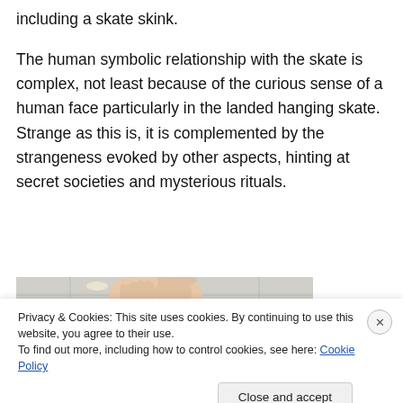including a skate skink.
The human symbolic relationship with the skate is complex, not least because of the curious sense of a human face particularly in the landed hanging skate. Strange as this is, it is complemented by the strangeness evoked by other aspects, hinting at secret societies and mysterious rituals.
[Figure (photo): A photograph showing bare human feet raised upward in an office/indoor environment with a tiled ceiling visible in the background.]
Privacy & Cookies: This site uses cookies. By continuing to use this website, you agree to their use.
To find out more, including how to control cookies, see here: Cookie Policy
Close and accept